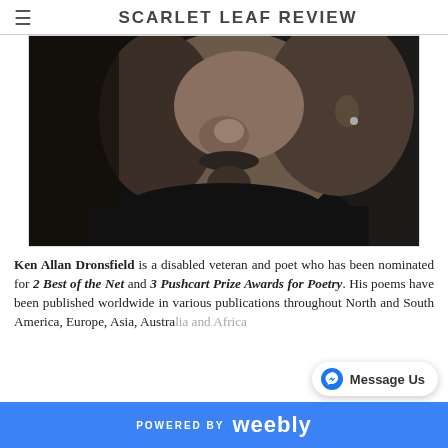SCARLET LEAF REVIEW
[Figure (photo): Black and white close-up photo of Ken Allan Dronsfield, a man with a goatee and mustache wearing a dark turtleneck, photographed from slightly below looking upward]
Ken Allan Dronsfield is a disabled veteran and poet who has been nominated for 2 Best of the Net and 3 Pushcart Prize Awards for Poetry. His poems have been published worldwide in various publications throughout North and South America, Europe, Asia, Australia and Africa
POWERED BY weebly